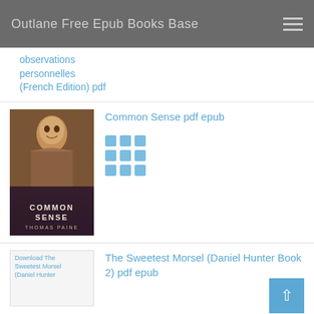Outlane Free Epub Books Base
observations personnelles (French Edition) pdf
[Figure (photo): Book cover of Common Sense by Thomas Paine showing a portrait painting and white text on dark background]
Common Sense pdf epub
[Figure (other): 3x3 grid of blue squares icon]
[Figure (other): Broken image placeholder for Download The Sweetest Morsel (Daniel Hunter Book 2)]
The Sweetest Morsel (Daniel Hunter Book 2) pdf epub